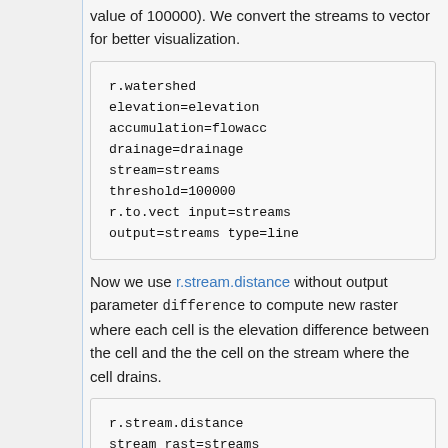value of 100000). We convert the streams to vector for better visualization.
r.watershed elevation=elevation accumulation=flowacc drainage=drainage stream=streams threshold=100000 r.to.vect input=streams output=streams type=line
Now we use r.stream.distance without output parameter difference to compute new raster where each cell is the elevation difference between the cell and the the cell on the stream where the cell drains.
r.stream.distance stream_rast=streams